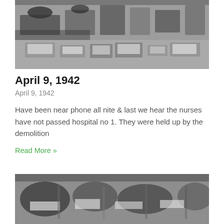[Figure (photo): Black and white photograph of a hospital ward with patients in beds, nurses, and medical equipment visible from above.]
April 9, 1942
April 9, 1942
Have been near phone all nite & last we hear the nurses have not passed hospital no 1. They were held up by the demolition
Read More »
[Figure (photo): Black and white photograph of a crowded hospital ward with patients on beds and medical staff, wartime setting.]